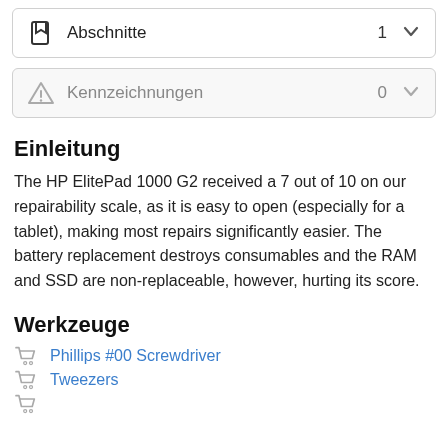[Figure (screenshot): UI box showing 'Abschnitte' with count 1 and a chevron dropdown icon, and a bookmark icon on the left]
[Figure (screenshot): UI box showing 'Kennzeichnungen' with count 0 and a chevron dropdown icon, and a warning triangle icon on the left, greyed out]
Einleitung
The HP ElitePad 1000 G2 received a 7 out of 10 on our repairability scale, as it is easy to open (especially for a tablet), making most repairs significantly easier. The battery replacement destroys consumables and the RAM and SSD are non-replaceable, however, hurting its score.
Werkzeuge
Phillips #00 Screwdriver
Tweezers